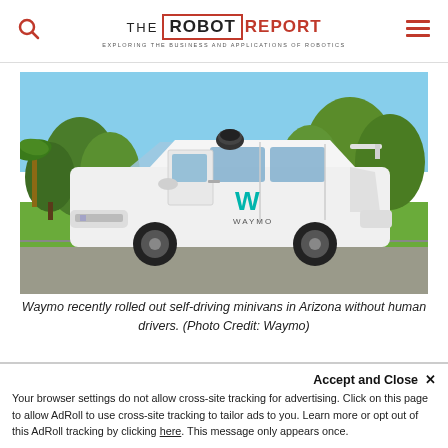THE ROBOT REPORT — EXPLORING THE BUSINESS AND APPLICATIONS OF ROBOTICS
[Figure (photo): White Waymo self-driving minivan parked on a road with trees and grass in the background, featuring a LIDAR sensor dome on the roof and the Waymo logo on the door.]
Waymo recently rolled out self-driving minivans in Arizona without human drivers. (Photo Credit: Waymo)
Accept and Close ✕
Your browser settings do not allow cross-site tracking for advertising. Click on this page to allow AdRoll to use cross-site tracking to tailor ads to you. Learn more or opt out of this AdRoll tracking by clicking here. This message only appears once.